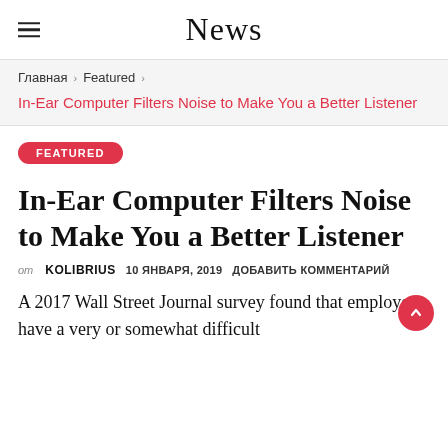News
Главная > Featured >
In-Ear Computer Filters Noise to Make You a Better Listener
FEATURED
In-Ear Computer Filters Noise to Make You a Better Listener
от KOLIBRIUS   10 ЯНВАРЯ, 2019  ДОБАВИТЬ КОММЕНТАРИЙ
A 2017 Wall Street Journal survey found that employers have a very or somewhat difficult